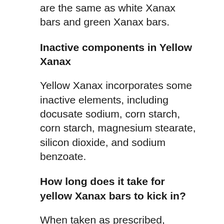are the same as white Xanax bars and green Xanax bars.
Inactive components in Yellow Xanax
Yellow Xanax incorporates some inactive elements, including docusate sodium, corn starch, corn starch, magnesium stearate, silicon dioxide, and sodium benzoate.
How long does it take for yellow Xanax bars to kick in?
When taken as prescribed,